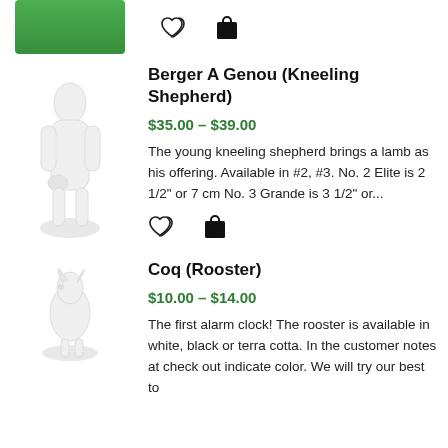[Figure (photo): Partial green-label product image cropped at top]
[Figure (other): Heart (wishlist) icon and shopping bag icon]
[Figure (photo): White figurine of kneeling shepherd holding a lamb]
Berger A Genou (Kneeling Shepherd)
$35.00 – $39.00
The young kneeling shepherd brings a lamb as his offering. Available in #2, #3. No. 2 Elite is 2 1/2" or 7 cm No. 3 Grande is 3 1/2" or...
[Figure (other): Heart (wishlist) icon and shopping bag icon]
[Figure (photo): White figurine of a rooster]
Coq (Rooster)
$10.00 – $14.00
The first alarm clock! The rooster is available in white, black or terra cotta. In the customer notes at check out indicate color. We will try our best to